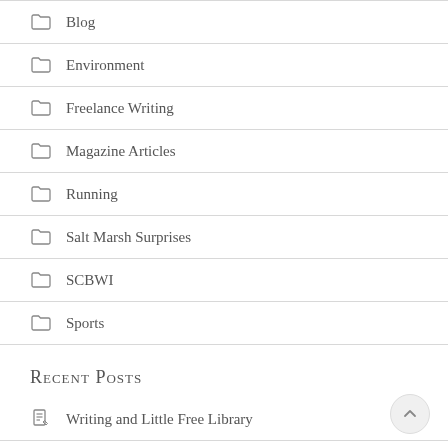Blog
Environment
Freelance Writing
Magazine Articles
Running
Salt Marsh Surprises
SCBWI
Sports
Recent Posts
Writing and Little Free Library
Back to Running & Writing
A Bit Bionic and Back to Writing